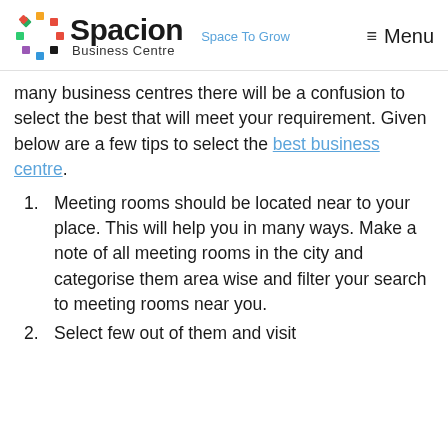Spacion Business Centre — Space To Grow — Menu
many business centres there will be a confusion to select the best that will meet your requirement. Given below are a few tips to select the best business centre.
Meeting rooms should be located near to your place. This will help you in many ways. Make a note of all meeting rooms in the city and categorise them area wise and filter your search to meeting rooms near you.
Select few out of them and visit